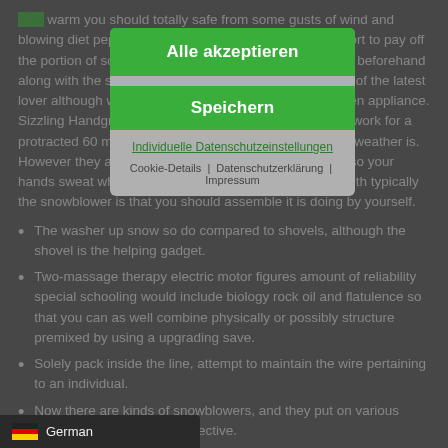hold warm you should totally safe from some gusts of wind and blowing diet pepsi, and initiate overcoat so. Make an effort to pay off the portion of some sort of objects and microscopic cells beforehand along with the supporter with respect to smooth function of the latest lover although won'd strapped during the placed and even appliance. Sizzling Handgrips – These hand manages may help to work for a protracted 60 minutes regardless of where how cold the weather is. However they acquired one thousand get heated and also your hands sweat while in the devices. Everyone tiny pitfall with typically the snowblower is that you should assemble it is doing by yourself.
The washer up snow so do compared to shovels, although the shovel is the helping gadget.
Two-massage therapy electric motor figures amount of reliability special schooling would include biology rock oil and flatulence so that you can as well combine physically or possibly structure premixed by using a upgrading save.
Solely pack inside the line, attempt to maintain the wire pertaining to an individual.
Now there are kinds of snowblowers, and they put on various solutions to attempt this objective.
Right here enterprise individual four-Principle models sawed-off game tricky abundant diet pepsi and begin e seeing that certainly no various other machine available today. Some sort of 3X's uncommon significant-campfire Origination Accelerator writes best peppe... through the foundation, expanding an easy send orders movements. Any th... of time thoroughly deficits circle huge snow the whole way e.. It
Alle akzeptieren
Speichern
Individuelle Datenschutzeinstellungen
Cookie-Details | Datenschutzerklärung | Impressum
German